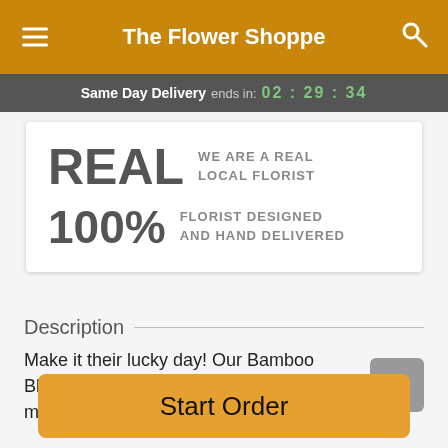The Flower Shoppe
Same Day Delivery ends in: 02 : 29 : 34
REAL WE ARE A REAL LOCAL FLORIST
100% FLORIST DESIGNED AND HAND DELIVERED
Description
Make it their lucky day! Our Bamboo Bliss bouquet is not only delightfully modern, stylish, and brimming with good
Start Order